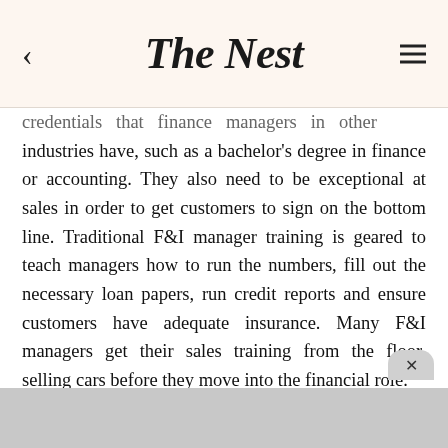The Nest
credentials that finance managers in other industries have, such as a bachelor's degree in finance or accounting. They also need to be exceptional at sales in order to get customers to sign on the bottom line. Traditional F&I manager training is geared to teach managers how to run the numbers, fill out the necessary loan papers, run credit reports and ensure customers have adequate insurance. Many F&I managers get their sales training from the floor, selling cars before they move into the financial role.